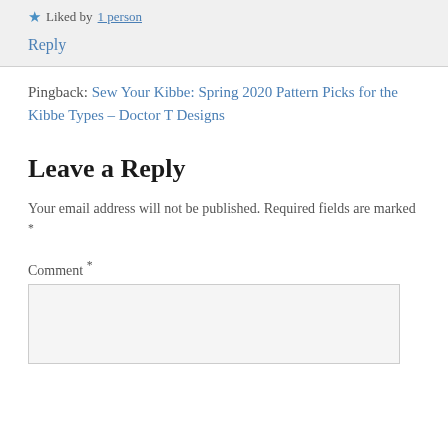★ Liked by 1 person
Reply
Pingback: Sew Your Kibbe: Spring 2020 Pattern Picks for the Kibbe Types – Doctor T Designs
Leave a Reply
Your email address will not be published. Required fields are marked *
Comment *